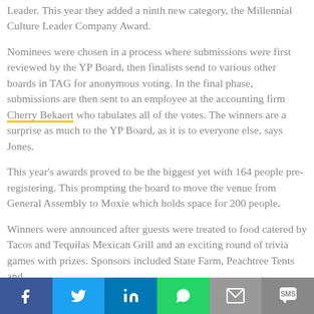Leader. This year they added a ninth new category, the Millennial Culture Leader Company Award.
Nominees were chosen in a process where submissions were first reviewed by the YP Board, then finalists send to various other boards in TAG for anonymous voting. In the final phase, submissions are then sent to an employee at the accounting firm Cherry Bekaert who tabulates all of the votes. The winners are a surprise as much to the YP Board, as it is to everyone else, says Jones.
This year's awards proved to be the biggest yet with 164 people pre-registering. This prompting the board to move the venue from General Assembly to Moxie which holds space for 200 people.
Winners were announced after guests were treated to food catered by Tacos and Tequilas Mexican Grill and an exciting round of trivia games with prizes. Sponsors included State Farm, Peachtree Tents and
Share buttons: Facebook, Twitter, LinkedIn, WhatsApp, Email, SMS